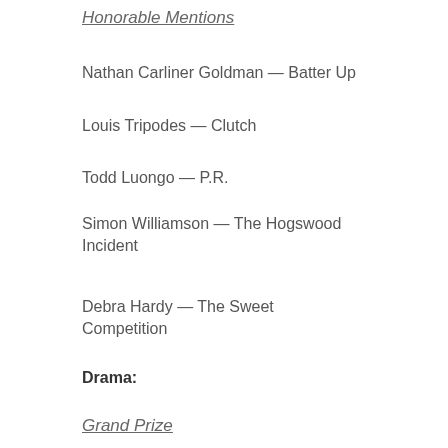Honorable Mentions
Nathan Carliner Goldman — Batter Up
Louis Tripodes — Clutch
Todd Luongo — P.R.
Simon Williamson — The Hogswood Incident
Debra Hardy — The Sweet Competition
Drama:
Grand Prize